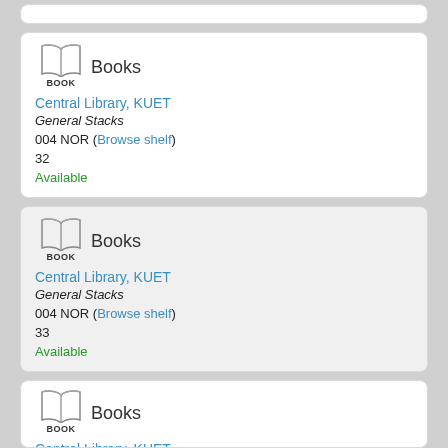Books BOOK Central Library, KUET General Stacks 004 NOR (Browse shelf) 32 Available
Books BOOK Central Library, KUET General Stacks 004 NOR (Browse shelf) 33 Available
Books BOOK Central Library, KUET General Stacks